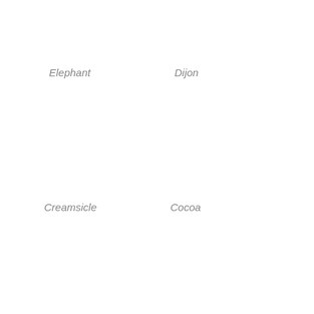Elephant
Dijon
Creamsicle
Cocoa